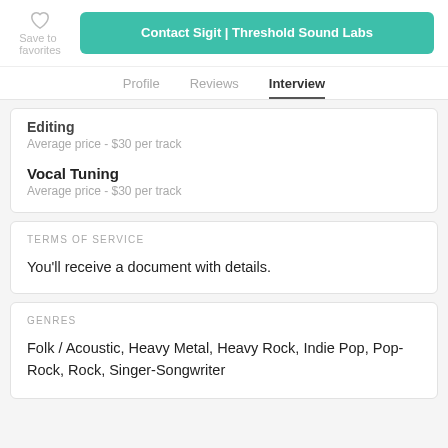Save to favorites
Contact Sigit | Threshold Sound Labs
Profile   Reviews   Interview
Editing
Average price - $30 per track
Vocal Tuning
Average price - $30 per track
TERMS OF SERVICE
You'll receive a document with details.
GENRES
Folk / Acoustic, Heavy Metal, Heavy Rock, Indie Pop, Pop-Rock, Rock, Singer-Songwriter